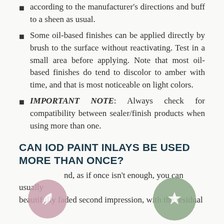according to the manufacturer's directions and buff to a sheen as usual.
Some oil-based finishes can be applied directly by brush to the surface without reactivating. Test in a small area before applying. Note that most oil-based finishes do tend to discolor to amber with time, and that is most noticeable on light colors.
IMPORTANT NOTE: Always check for compatibility between sealer/finish products when using more than one.
CAN IOD PAINT INLAYS BE USED MORE THAN ONCE?
nd, as if once isn't enough, you can usually beautifully faded second impression, with the residual